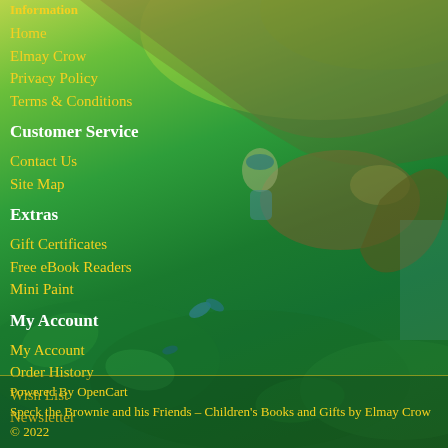Information
Home
Elmay Crow
Privacy Policy
Terms & Conditions
Customer Service
Contact Us
Site Map
Extras
Gift Certificates
Free eBook Readers
Mini Paint
My Account
My Account
Order History
Wish List
Newsletter
Powered By OpenCart
Speck the Brownie and his Friends – Children's Books and Gifts by Elmay Crow © 2022